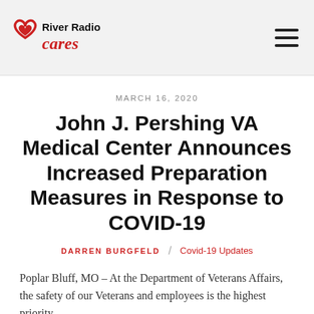River Radio Cares
MARCH 16, 2020
John J. Pershing VA Medical Center Announces Increased Preparation Measures in Response to COVID-19
DARREN BURGFELD / Covid-19 Updates
Poplar Bluff, MO – At the Department of Veterans Affairs, the safety of our Veterans and employees is the highest priority.
Libby Johnson, Associate Director at the John J. Pershing VA Medical Center (VAMC) and crisis